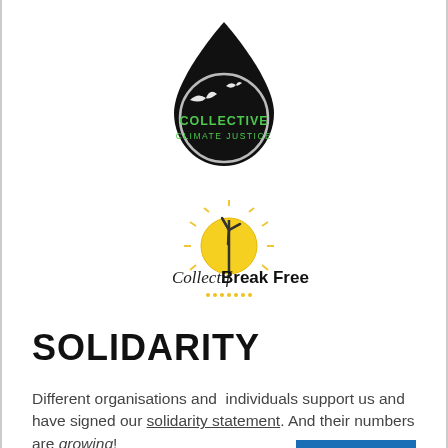[Figure (logo): Collective Climate Justice logo — black teardrop/water-drop shape containing a circle with white birds and green text 'COLLECTIVE CLIMATE JUSTICE' on black background]
[Figure (logo): Collectif Break Free logo — yellow sun with wind turbine silhouette, text 'Collectif Break Free' in black serif/sans lettering, small dots below]
SOLIDARITY
Different organisations and  individuals support us and have signed our solidarity statement. And their numbers are growing!